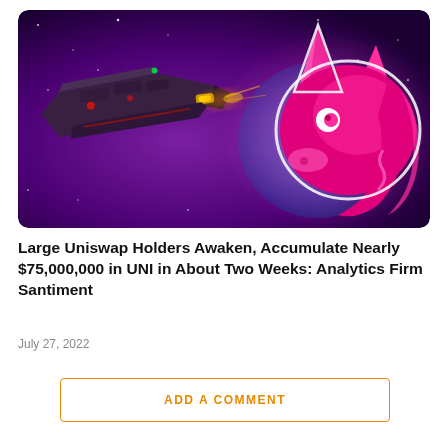[Figure (illustration): A space-themed composite image: a dark sci-fi spaceship on the left against a purple cosmic background with stars, and a glowing pink neon unicorn head on the right with a white outline, a planet visible behind it.]
Large Uniswap Holders Awaken, Accumulate Nearly $75,000,000 in UNI in About Two Weeks: Analytics Firm Santiment
July 27, 2022
ADD A COMMENT